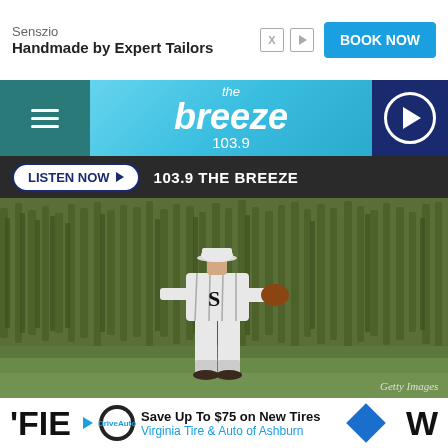[Figure (screenshot): Advertisement banner: Senszio - Handmade by Expert Tailors with BOOK NOW button]
[Figure (screenshot): The Breeze 103.9 radio station navigation bar with hamburger menu, logo, and play button]
[Figure (screenshot): LISTEN NOW button and 103.9 THE BREEZE label bar]
[Figure (photo): Baseball player in vintage White Sox uniform standing in front of a cornfield (Field of Dreams movie still), Getty Images]
'FIE  W
[Figure (screenshot): Advertisement: Save Up To $75 on New Tires - Virginia Tire & Auto of Ashburn]